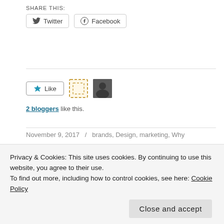SHARE THIS:
Twitter  Facebook
[Figure (other): Like button with star icon, two blogger avatars (dashed square and photo thumbnail)]
2 bloggers like this.
November 9, 2017  /  brands, Design, marketing, Why
Privacy & Cookies: This site uses cookies. By continuing to use this website, you agree to their use.
To find out more, including how to control cookies, see here: Cookie Policy
Close and accept
creating connections for organizations and